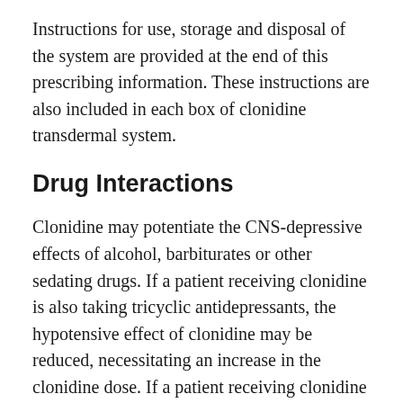Instructions for use, storage and disposal of the system are provided at the end of this prescribing information. These instructions are also included in each box of clonidine transdermal system.
Drug Interactions
Clonidine may potentiate the CNS-depressive effects of alcohol, barbiturates or other sedating drugs. If a patient receiving clonidine is also taking tricyclic antidepressants, the hypotensive effect of clonidine may be reduced, necessitating an increase in the clonidine dose. If a patient receiving clonidine is also taking neuroleptics, orthostatic